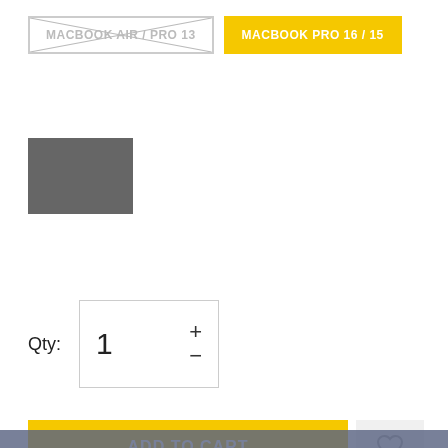MACBOOK AIR / PRO 13
MACBOOK PRO 16 / 15
[Figure (other): Dark gray color swatch/thumbnail rectangle]
Qty: 1
ADD TO CART
This website uses cookies to ensure you get the best experience on our website.
Learn more
Description
Got it!
MOHON PERHATIKAN VARIAN PRODUK SEBELUM MELAKUKAN PEMBELIAN
SwitchEasy Macbook Thins Case Merupakan case atau pouch